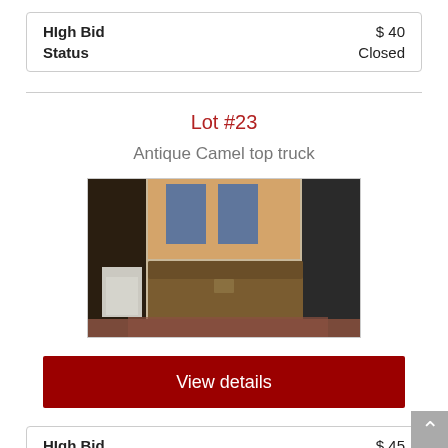| High Bid | $ 40 |
| Status | Closed |
Lot #23
Antique Camel top truck
[Figure (photo): Photo of an antique camel top trunk/chest placed in front of a brick fireplace]
View details
| High Bid | $ 45 |